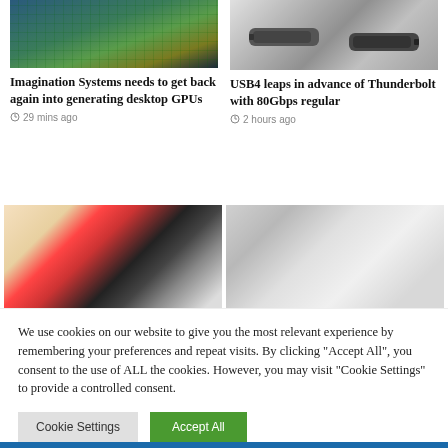[Figure (photo): PCB circuit board with green/blue components and a memory card]
[Figure (photo): Two USB-C connectors on dark background]
Imagination Systems needs to get back again into generating desktop GPUs
29 mins ago
USB4 leaps in advance of Thunderbolt with 80Gbps regular
2 hours ago
[Figure (photo): Three iPhones (red, silver, black) arranged on white surface with food items nearby]
[Figure (photo): Hand holding smartphone showing text content, circular background]
We use cookies on our website to give you the most relevant experience by remembering your preferences and repeat visits. By clicking "Accept All", you consent to the use of ALL the cookies. However, you may visit "Cookie Settings" to provide a controlled consent.